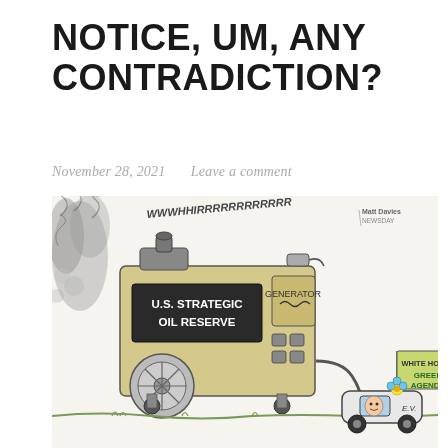NOTICE, UM, ANY CONTRADICTION?
November 28, 2021   Leave a comment
[Figure (illustration): Editorial cartoon showing a large gas-powered generator labeled 'U.S. STRATEGIC OIL RESERVE' on the left, emitting exhaust clouds and making a whirring noise ('WWWHHIRRRRRRRRRRR'). The generator powers an electric vehicle (labeled 'E.V.') on the right via a hose/cable. The EV has a flag reading 'WHITE HOUSE GREEN AGENDA' and a flower decoration. A figure is seen driving the EV. Artist signature: Matt Davies / Newsday, in the upper right corner.]